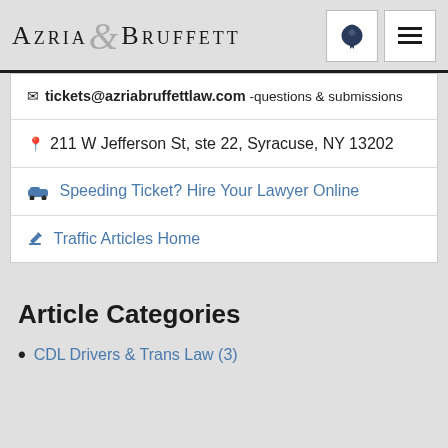AZRIA & BRUFFETT
tickets@azriabruffettlaw.com -questions & submissions
211 W Jefferson St, ste 22, Syracuse, NY 13202
Speeding Ticket? Hire Your Lawyer Online
Traffic Articles Home
Article Categories
CDL Drivers & Trans Law (3)